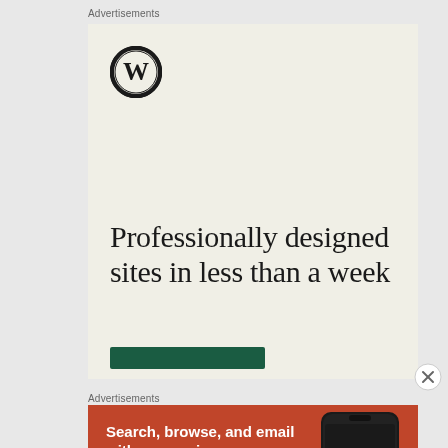Advertisements
[Figure (illustration): WordPress advertisement with beige/cream background. WordPress circular logo (W) at top left. Large serif text reads 'Professionally designed sites in less than a week'. Dark green button at bottom.]
[Figure (illustration): Close/dismiss button (X in circle) at right side]
Advertisements
[Figure (illustration): DuckDuckGo advertisement with orange-red background. White bold text: 'Search, browse, and email with more privacy.' White pill button: 'All in One Free App'. Right side shows a smartphone with DuckDuckGo logo and 'DuckDuckGo.' text below.]